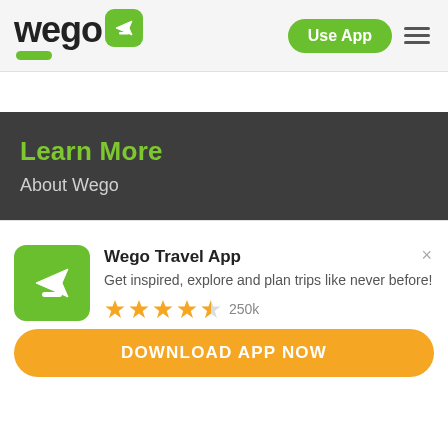[Figure (logo): Wego logo with green airplane icon and green rounded rectangle below]
Use App
Learn More
About Wego
Wego Travel App
Get inspired, explore and plan trips like never before!
250k
DOWNLOAD APP NOW